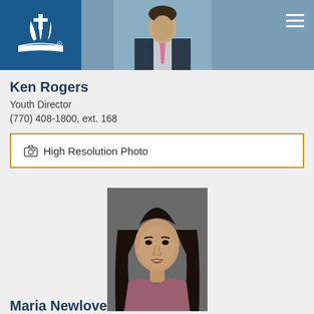[Figure (photo): Seventh-day Adventist logo on dark blue background and a man in a suit with a pink tie as a profile photo, on a steel blue banner header]
Ken Rogers
Youth Director
(770) 408-1800, ext. 168
📷 High Resolution Photo
[Figure (photo): Portrait photo of a woman with long dark hair wearing a mauve/rose top against a dark gray background]
Maria Newlove